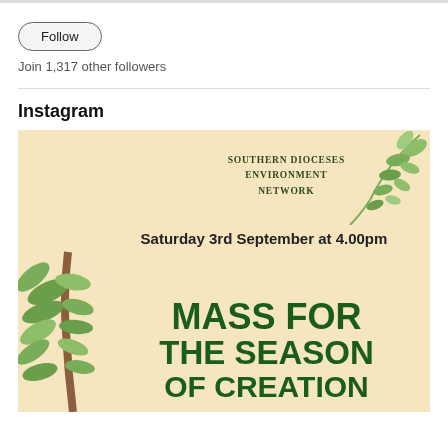Follow
Join 1,317 other followers
Instagram
[Figure (illustration): Instagram post image with cream/beige background showing 'Southern Dioceses Environment Network' logo with leaf decorations, event text 'Saturday 3rd September at 4.00pm' and large bold green text 'MASS FOR THE SEASON OF CREATION']